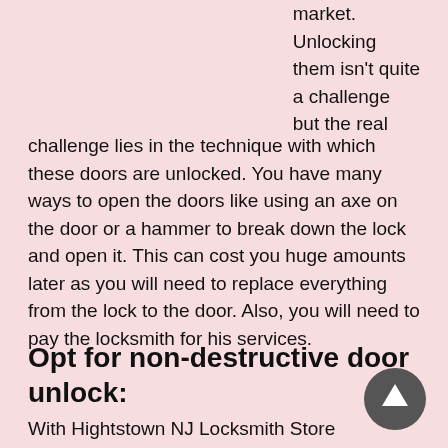market. Unlocking them isn't quite a challenge but the real challenge lies in the technique with which these doors are unlocked. You have many ways to open the doors like using an axe on the door or a hammer to break down the lock and open it. This can cost you huge amounts later as you will need to replace everything from the lock to the door. Also, you will need to pay the locksmith for his services.
Opt for non-destructive door unlock:
With Hightstown NJ Locksmith Store unlocking doors will